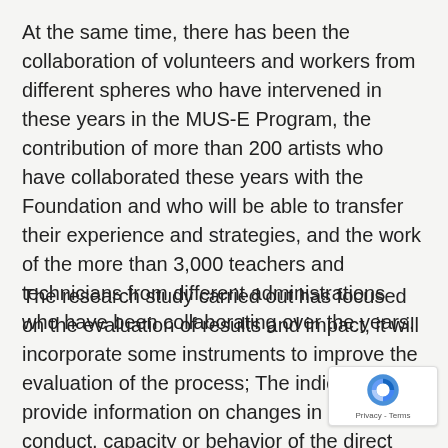At the same time, there has been the collaboration of volunteers and workers from different spheres who have intervened in these years in the MUS-E Program, the contribution of more than 200 artists who have collaborated these years with the Foundation and who will be able to transfer their experience and strategies, and the work of the more than 3,000 teachers and technicians from different administrations who have been collaborating over the years.
The research study carried out has focused on the evaluation of results and impact, it will incorporate some instruments to improve the evaluation of the process; The indicators will provide information on changes in attitudes, conduct, capacity or behavior of the direct beneficiaries and will constitute the main basis for evaluating the success or failure of the measures evaluated and of the project as a whole. The elements to be evaluated are: value of art, active participation, citizen